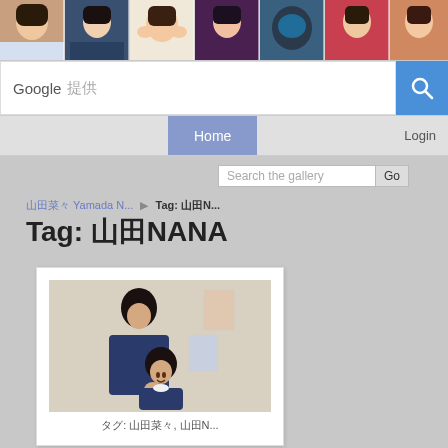[Figure (photo): Header banner with a strip of 7 portrait photos of young women/people]
Google 提供
[Figure (screenshot): Search bar with Google 提供 label and blue search button]
Home
Login
Search the gallery  Go
山田菜々... ▶ Tag: 山田N...
Tag: 山田NANA
[Figure (photo): Photo of two young women in school uniforms, one standing over the other]
タグ: 山田菜々, 山田N...